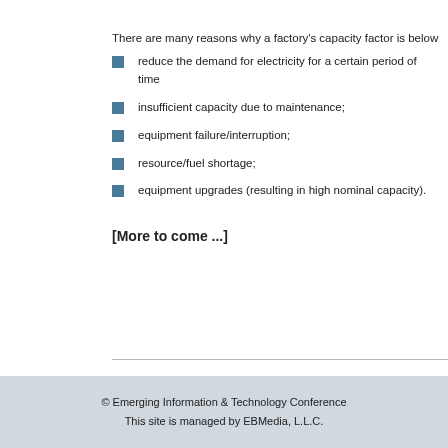There are many reasons why a factory's capacity factor is below
reduce the demand for electricity for a certain period of time
insufficient capacity due to maintenance;
equipment failure/interruption;
resource/fuel shortage;
equipment upgrades (resulting in high nominal capacity).
[More to come ...]
© Emerging Information & Technology Conference
This site is managed by EBMedia, L.L.C.